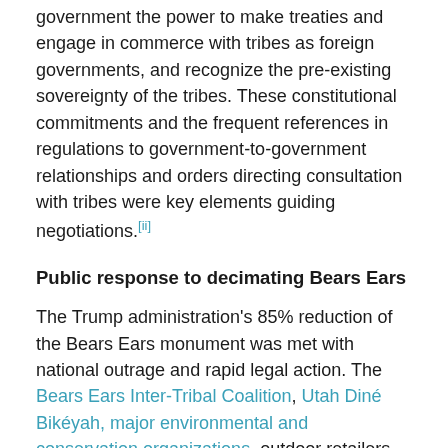government the power to make treaties and engage in commerce with tribes as foreign governments, and recognize the pre-existing sovereignty of the tribes. These constitutional commitments and the frequent references in regulations to government-to-government relationships and orders directing consultation with tribes were key elements guiding negotiations.[ii]
Public response to decimating Bears Ears
The Trump administration's 85% reduction of the Bears Ears monument was met with national outrage and rapid legal action. The Bears Ears Inter-Tribal Coalition, Utah Diné Bikéyah, major environmental and conservation organizations, outdoor retailers, and others filed lawsuits challenging the proclamation as illegal under the Antiquities Act. The twenty-year-old Outdoor Retailer show, the largest exhibition in the world of outdoor sports gear, pulled out of Utah, taking with it some $45 million of Salt Lake City's annual revenue.